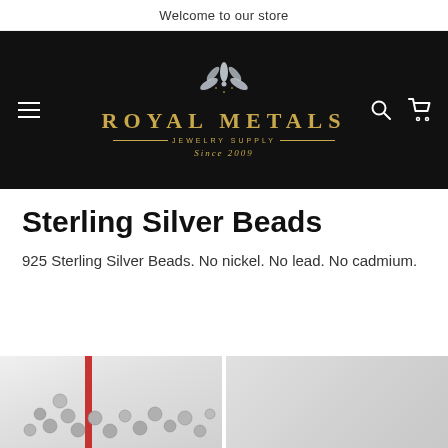Welcome to our store
[Figure (logo): Royal Metals Jewelry Supply logo on black background with stylized silver leaf/flower, gold text reading ROYAL METALS JEWELRY SUPPLY Since 2009, hamburger menu icon on left, search and cart icons on right]
Sterling Silver Beads
925 Sterling Silver Beads. No nickel. No lead. No cadmium.
[Figure (photo): Photo of sterling silver beads scattered on a white surface with a red-edged bag visible]
[Figure (photo): Partial photo of a silver/grey product on light background]